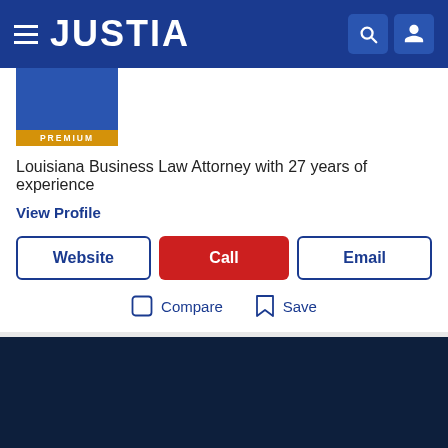JUSTIA
[Figure (photo): Attorney profile thumbnail with PREMIUM badge]
Louisiana Business Law Attorney with 27 years of experience
View Profile
Website | Call | Email
Compare  Save
[Figure (other): Dark navy advertisement or content section]
Recent (0)  Saved (0)  Compare (0/3)